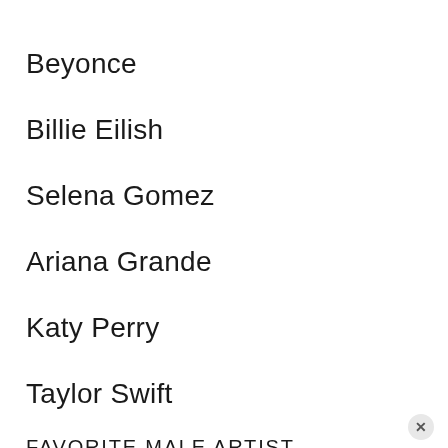Beyonce
Billie Eilish
Selena Gomez
Ariana Grande
Katy Perry
Taylor Swift
FAVORITE MALE ARTIST